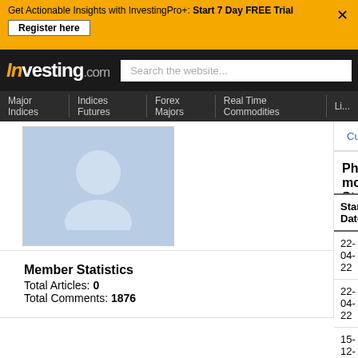Get Actionable Insights with InvestingPro+: Start 7 Day FREE Trial
Register here
[Figure (logo): Investing.com logo with search bar]
Major Indices | Indices Futures | Forex Majors | Real Time Commodities | Live...
[Figure (photo): User avatar profile image placeholder]
Member Statistics
Total Articles: 0
Total Comments: 1876
Currencies | Indices | Equities | Futures
Philip moneytrondoctor Stocks Senti...
| Start Date | Name |
| --- | --- |
| 22-04-22 | Ganfeng Lithium |
| 22-04-22 | Deutsche Bank AG |
| 15-12-20 | Barrick Gold |
| 26-11-20 | Renault |
| 05-10-20 | BNP Paribas |
| 22-07-20 | ING Groep |
| 27-02-20 | Anheuser Busch In... |
| 23-01-20 | Deutsche Bank AG |
| 08-08-19 | Deutsche Bank AG |
| 10-07-19 | Deutsche Bank AG |